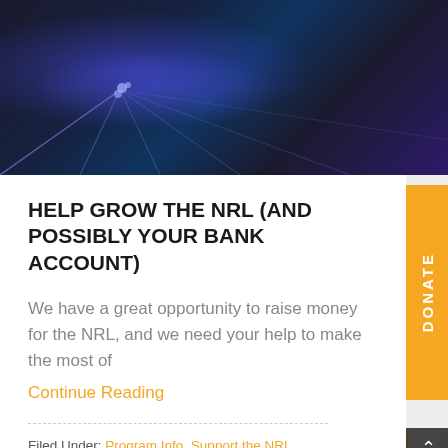[Figure (photo): Dark floor with purple/blue laser light effects]
HELP GROW THE NRL (AND POSSIBLY YOUR BANK ACCOUNT)
We have a great opportunity to raise money for the NRL, and we need your help to make the most of
Continue Reading
Filed Under: Program Info, Support the NRL
[Figure (photo): Indoor roller derby or skating rink with yellow barrier/wall, dark floor]